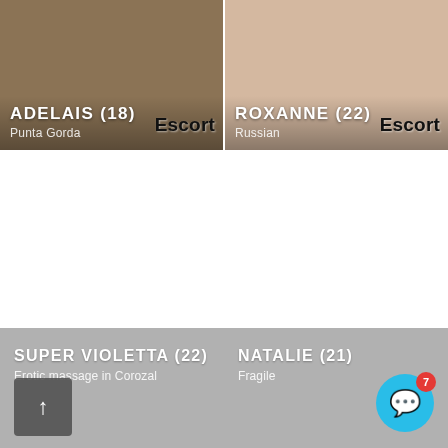[Figure (photo): Photo card of ADELAIS (18), Punta Gorda, with Escort badge]
[Figure (photo): Photo card of ROXANNE (22), Russian, with Escort badge]
SUPER VIOLETTA (22)
Erotic massage in Corozal
NATALIE (21)
Fragile